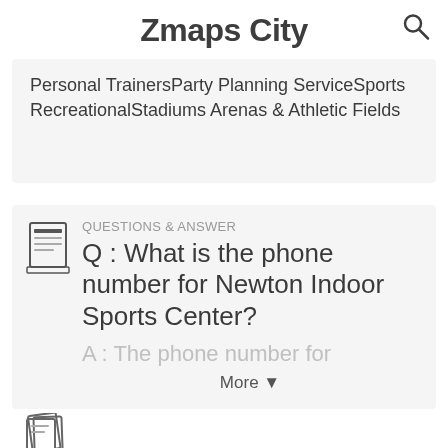Zmaps City
Personal TrainersParty Planning ServiceSports RecreationalStadiums Arenas & Athletic Fields
QUESTIONS & ANSWER
Q : What is the phone number for Newton Indoor Sports Center?
A : The phone number for
More ▼